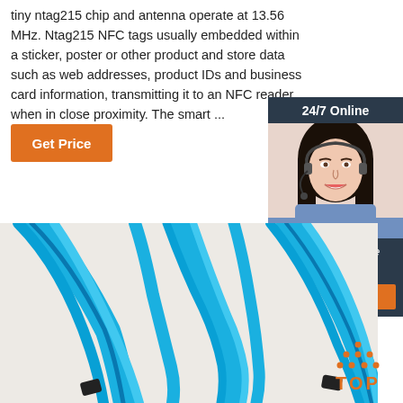tiny ntag215 chip and antenna operate at 13.56 MHz. Ntag215 NFC tags usually embedded within a sticker, poster or other product and store data such as web addresses, product IDs and business card information, transmitting it to an NFC reader when in close proximity. The smart ...
Get Price
24/7 Online
[Figure (photo): Woman with headset smiling, customer service representative]
Click here for free chat !
QUOTATION
[Figure (photo): Blue fabric wristbands on light background]
[Figure (logo): TOP logo with orange dots arranged in triangle above the word TOP]